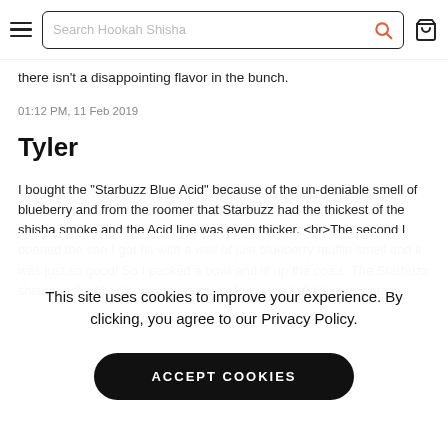Search Hookah Shisha
there isn't a disappointing flavor in the bunch.
01:12 PM, 11 Feb 2019
Tyler
I bought the "Starbuzz Blue Acid" because of the un-deniable smell of blueberry and from the roomer that Starbuzz had the thickest of the shisha smoke and the Acid line was even thicker. <br>The second I opened the can I got hit with a wall of just blueberry muffin smell and it was just so good! So I packed a bowl and lit up the coals. The Starbuzz shisha took abbot longer to warm up, but once it did, it was instant
This site uses cookies to improve your experience. By clicking, you agree to our Privacy Policy.
ACCEPT COOKIES